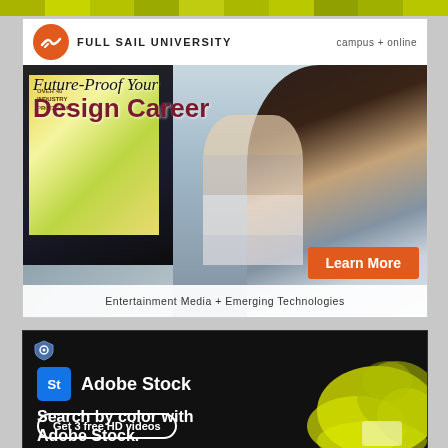[Figure (infographic): Colorful segmented top bar with yellow-green and olive colored segments]
[Figure (infographic): Full Sail University advertisement. Header with orange circle logo and text 'FULL SAIL UNIVERSITY campus + online'. Image of two women at a design workstation with monitor showing yellow design work. Overlay text reads 'Future-Proof Your Design Career'. Orange 'Learn More' button. Bottom text: 'Entertainment Media + Emerging Technologies'.]
[Figure (infographic): Adobe Stock advertisement on black background. Blue 'St' logo box, 'Adobe Stock' brand name. Text: 'Search by color with Adobe Stock.' Button: 'Get 3 free HD videos'. Yellow smoke/color splash on right side. Small shield/privacy icon top left.]